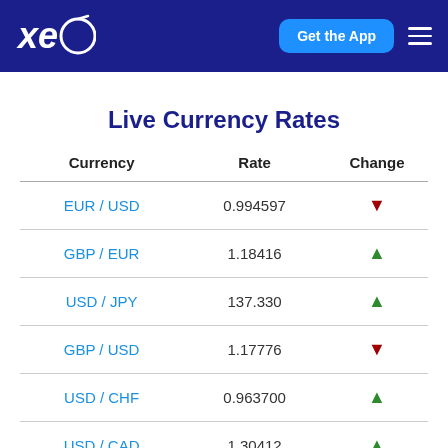xe — Get the App
Live Currency Rates
| Currency | Rate | Change |
| --- | --- | --- |
| EUR / USD | 0.994597 | ▼ |
| GBP / EUR | 1.18416 | ▲ |
| USD / JPY | 137.330 | ▲ |
| GBP / USD | 1.17776 | ▼ |
| USD / CHF | 0.963700 | ▲ |
| USD / CAD | 1.30412 | ▲ |